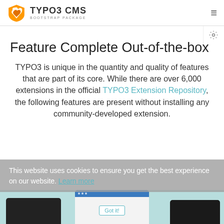[Figure (logo): TYPO3 CMS Bootstrap Package logo with orange shield icon]
Feature Complete Out-of-the-box
TYPO3 is unique in the quantity and quality of features that are part of its core. While there are over 6,000 extensions in the official TYPO3 Extension Repository, the following features are present without installing any community-developed extension.
This website uses cookies to ensure you get the best experience on our website. Learn more
[Figure (screenshot): Tablet and device screenshots showing TYPO3 CMS interface with Got it button overlay]